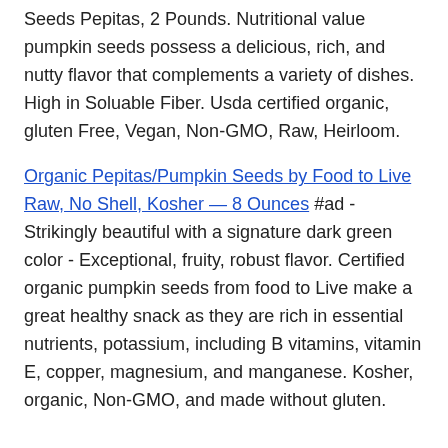Seeds Pepitas, 2 Pounds. Nutritional value pumpkin seeds possess a delicious, rich, and nutty flavor that complements a variety of dishes. High in Soluable Fiber. Usda certified organic, gluten Free, Vegan, Non-GMO, Raw, Heirloom.
Organic Pepitas/Pumpkin Seeds by Food to Live Raw, No Shell, Kosher — 8 Ounces #ad - Strikingly beautiful with a signature dark green color - Exceptional, fruity, robust flavor. Certified organic pumpkin seeds from food to Live make a great healthy snack as they are rich in essential nutrients, potassium, including B vitamins, vitamin E, copper, magnesium, and manganese. Kosher, organic, Non-GMO, and made without gluten.